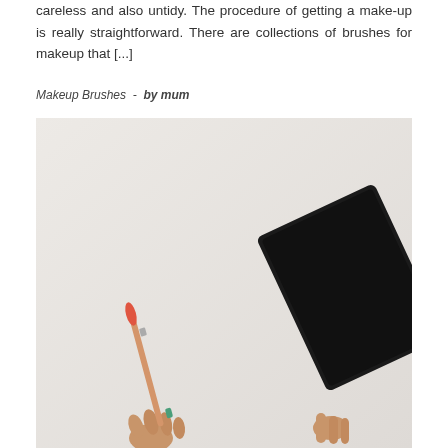careless and also untidy. The procedure of getting a make-up is really straightforward. There are collections of brushes for makeup that [...]
Makeup Brushes  -  by mum
[Figure (photo): A person's hand holding a makeup brush in one hand and a dark laptop/tablet in the other hand, against a light beige/cream background. The image is cropped, showing only the hands and lower arms from below.]